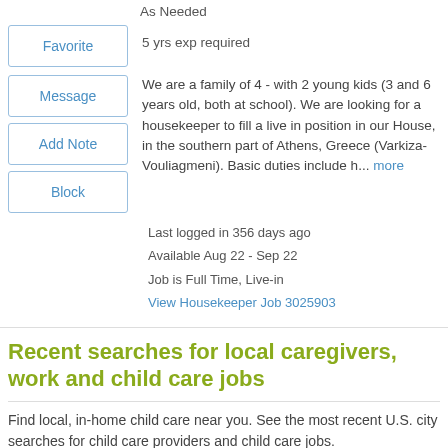As Needed
5 yrs exp required
We are a family of 4 - with 2 young kids (3 and 6 years old, both at school). We are looking for a housekeeper to fill a live in position in our House, in the southern part of Athens, Greece (Varkiza-Vouliagmeni). Basic duties include h... more
Last logged in 356 days ago
Available Aug 22 - Sep 22
Job is Full Time, Live-in
View Housekeeper Job 3025903
Recent searches for local caregivers, work and child care jobs
Find local, in-home child care near you. See the most recent U.S. city searches for child care providers and child care jobs.